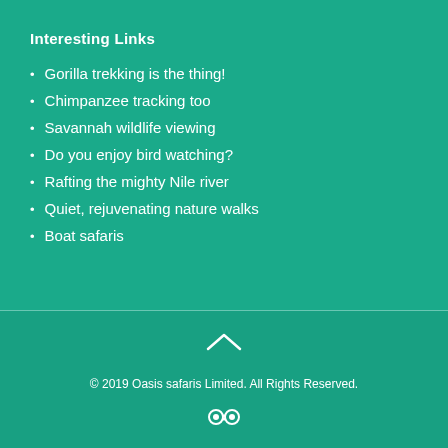Interesting Links
Gorilla trekking is the thing!
Chimpanzee tracking too
Savannah wildlife viewing
Do you enjoy bird watching?
Rafting the mighty Nile river
Quiet, rejuvenating nature walks
Boat safaris
© 2019 Oasis safaris Limited. All Rights Reserved.